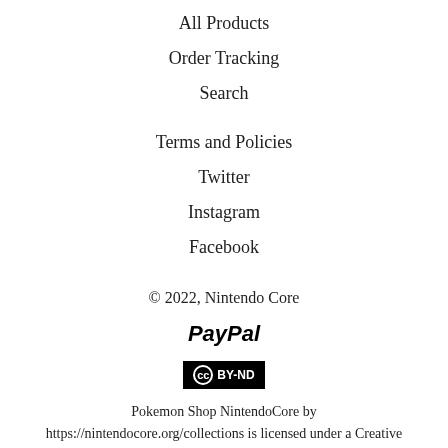All Products
Order Tracking
Search
Terms and Policies
Twitter
Instagram
Facebook
© 2022, Nintendo Core
[Figure (logo): PayPal logo in bold italic text]
[Figure (logo): Creative Commons CC BY-ND badge, black background with white text]
Pokemon Shop NintendoCore by https://nintendocore.org/collections is licensed under a Creative Commons Attribution-NoDerivatives 4.0 International License.